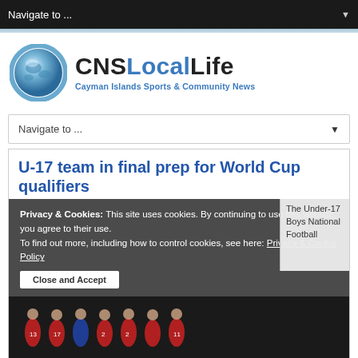Navigate to ...
[Figure (logo): CNSLocalLife globe logo with blue sphere icon and text 'CNSLocalLife - Cayman Islands Sports & Community News']
Navigate to ...
U-17 team in final prep for World Cup qualifiers
Privacy & Cookies: This site uses cookies. By continuing to use this website, you agree to their use. To find out more, including how to control cookies, see here: Privacy & Cookie Policy
Close and Accept
The Under-17 Boys National Football
[Figure (photo): Youth soccer team players in red uniforms posed together]